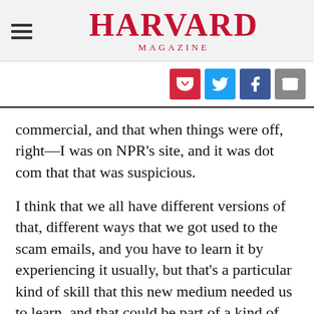HARVARD MAGAZINE
[Figure (other): Social share icons: Pocket (red), Twitter (blue), Facebook (dark blue), Email (gray)]
commercial, and that when things were off, right—I was on NPR's site, and it was dot com that that was suspicious.
I think that we all have different versions of that, different ways that we got used to the scam emails, and you have to learn it by experiencing it usually, but that's a particular kind of skill that this new medium needed us to learn, and that could be part of a kind of epistemic set, a sort of attitude toward what we know and don't know, what it's like to know and how we try to know. And at the biggest